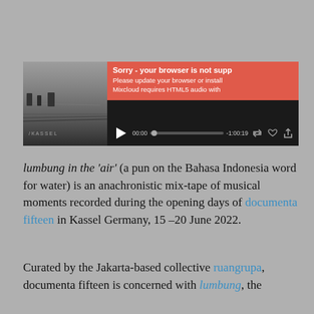[Figure (screenshot): Mixcloud audio player embedded widget showing a black and white landscape thumbnail on the left, a play button, a red error overlay reading 'Sorry - your browser is not supp', 'Please update your browser or install', 'Mixcloud requires HTML5 audio with', and a progress bar showing 00:00 and -1:00:19 with repost, like, and share icons.]
lumbung in the ‘air’ (a pun on the Bahasa Indonesia word for water) is an anachronistic mix-tape of musical moments recorded during the opening days of documenta fifteen in Kassel Germany, 15 –20 June 2022.
Curated by the Jakarta-based collective ruangrupa, documenta fifteen is concerned with lumbung, the